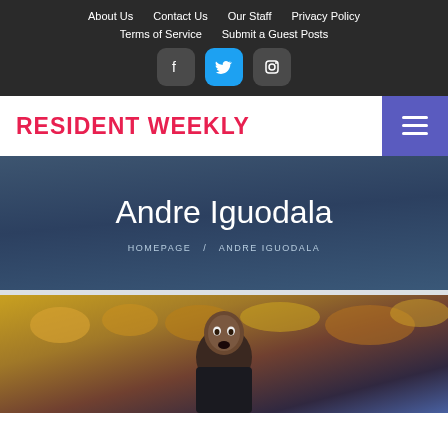About Us | Contact Us | Our Staff | Privacy Policy | Terms of Service | Submit a Guest Posts
RESIDENT WEEKLY
Andre Iguodala
HOMEPAGE / ANDRE IGUODALA
[Figure (photo): Basketball player Andre Iguodala in a dark jersey, shown from shoulders up, with a crowd of fans in yellow/gold in the background. Action/game setting.]